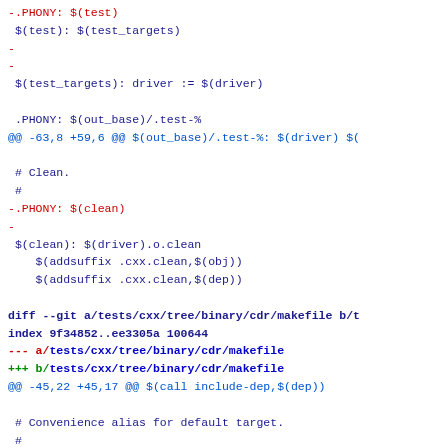-.PHONY: $(test)
 $(test): $(test_targets)
-
-
 $(test_targets): driver := $(driver)

 .PHONY: $(out_base)/.test-%
@@ -63,8 +59,6 @@ $(out_base)/.test-%: $(driver) $(

 # Clean.
 #
-.PHONY: $(clean)
-
 $(clean): $(driver).o.clean
    $(addsuffix .cxx.clean,$(obj))
    $(addsuffix .cxx.clean,$(dep))

diff --git a/tests/cxx/tree/binary/cdr/makefile b/t
index 9f34852..ee3305a 100644
--- a/tests/cxx/tree/binary/cdr/makefile
+++ b/tests/cxx/tree/binary/cdr/makefile
@@ -45,22 +45,17 @@ $(call include-dep,$(dep))

 # Convenience alias for default target.
 #
-.PHONY: $(out_base)/
 $(out_base)/: $(driver)


 # Test.
 #